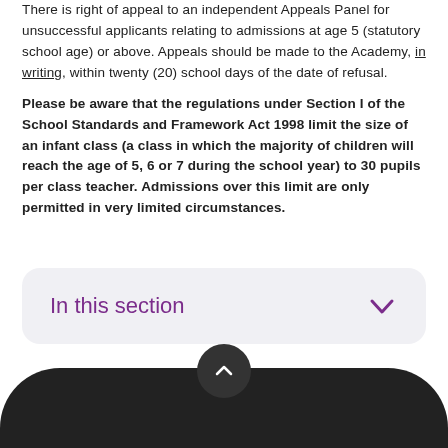There is right of appeal to an independent Appeals Panel for unsuccessful applicants relating to admissions at age 5 (statutory school age) or above. Appeals should be made to the Academy, in writing, within twenty (20) school days of the date of refusal.
Please be aware that the regulations under Section I of the School Standards and Framework Act 1998 limit the size of an infant class (a class in which the majority of children will reach the age of 5, 6 or 7 during the school year) to 30 pupils per class teacher. Admissions over this limit are only permitted in very limited circumstances.
In this section